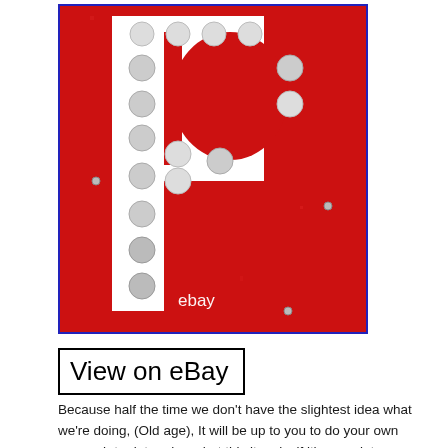[Figure (photo): Close-up photo of a red parking sign with a large white letter P decorated with circular reflective studs/dots. The eBay watermark text appears in the lower portion of the image. The sign has a blue border around the photo.]
View on eBay
Because half the time we don't have the slightest idea what we're doing, (Old age), It will be up to you to do your own research to determine what this item is, if it's complete, or how old it is. Unless I